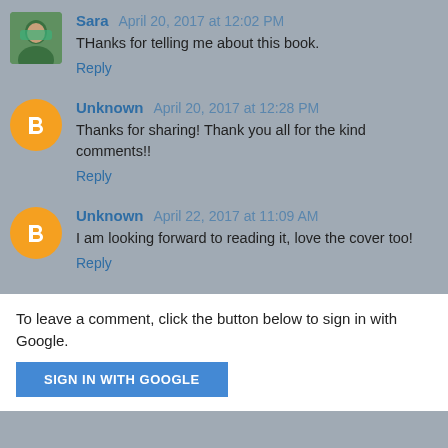Sara  April 20, 2017 at 12:02 PM
THanks for telling me about this book.
Reply
Unknown  April 20, 2017 at 12:28 PM
Thanks for sharing! Thank you all for the kind comments!!
Reply
Unknown  April 22, 2017 at 11:09 AM
I am looking forward to reading it, love the cover too!
Reply
To leave a comment, click the button below to sign in with Google.
SIGN IN WITH GOOGLE